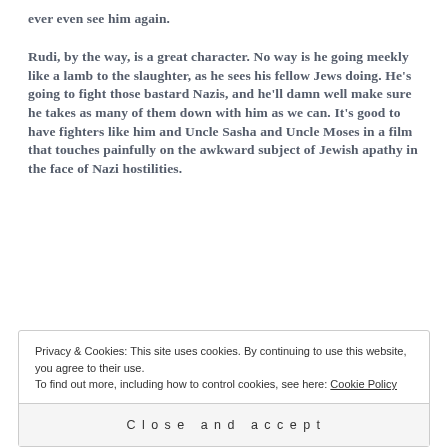ever even see him again.
Rudi, by the way, is a great character. No way is he going meekly like a lamb to the slaughter, as he sees his fellow Jews doing. He’s going to fight those bastard Nazis, and he’ll damn well make sure he takes as many of them down with him as we can. It’s good to have fighters like him and Uncle Sasha and Uncle Moses in a film that touches painfully on the awkward subject of Jewish apathy in the face of Nazi hostilities.
Privacy & Cookies: This site uses cookies. By continuing to use this website, you agree to their use.
To find out more, including how to control cookies, see here: Cookie Policy
Close and accept
him, the ungrateful bastard turns against her.